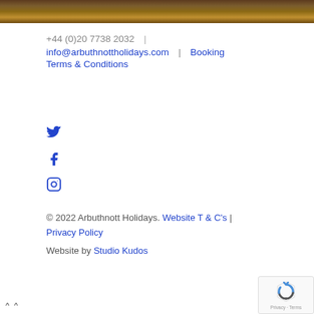[Figure (photo): Dark brown textured ground/soil photo strip at the top of the page]
+44 (0)20 7738 2032  |
info@arbuthnottholidays.com  |  Booking Terms & Conditions
[Figure (illustration): Twitter bird icon in blue]
[Figure (illustration): Facebook 'f' icon in blue]
[Figure (illustration): Instagram circle icon in blue]
© 2022 Arbuthnott Holidays. Website T & C's | Privacy Policy
Website by Studio Kudos
[Figure (other): reCAPTCHA badge: Privacy - Terms]
^ ^